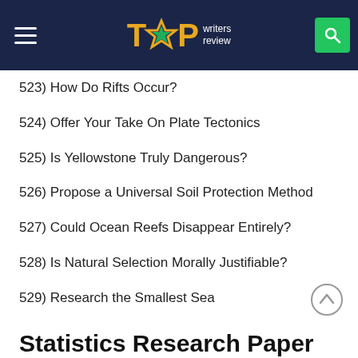TOP writers review
523) How Do Rifts Occur?
524) Offer Your Take On Plate Tectonics
525) Is Yellowstone Truly Dangerous?
526) Propose a Universal Soil Protection Method
527) Could Ocean Reefs Disappear Entirely?
528) Is Natural Selection Morally Justifiable?
529) Research the Smallest Sea
Statistics Research Paper Topics
530) How Does GPA Affect MBA Salaries?
531) List with The Worst Habits Most Students Acquire During Studies